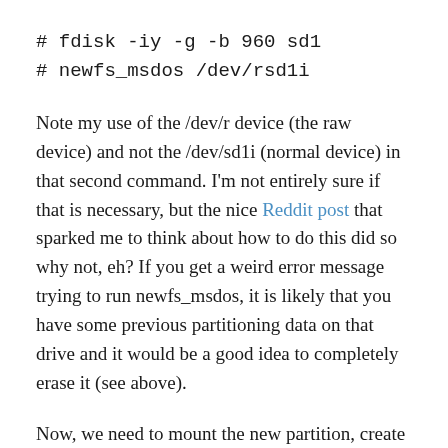Note my use of the /dev/r device (the raw device) and not the /dev/sd1i (normal device) in that second command. I'm not entirely sure if that is necessary, but the nice Reddit post that sparked me to think about how to do this did so why not, eh? If you get a weird error message trying to run newfs_msdos, it is likely that you have some previous partitioning data on that drive and it would be a good idea to completely erase it (see above).
Now, we need to mount the new partition, create the necessary directory structure that